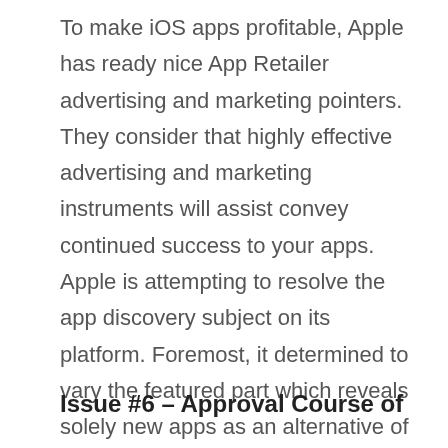To make iOS apps profitable, Apple has ready nice App Retailer advertising and marketing pointers. They consider that highly effective advertising and marketing instruments will assist convey continued success to your apps. Apple is attempting to resolve the app discovery subject on its platform. Foremost, it determined to vary the featured part which reveals solely new apps as an alternative of already put in apps. Aside from this, it guarantees that its app retailer shall be up to date extra typically with new content material sooner or later.
Issue #6 – Approval Course of